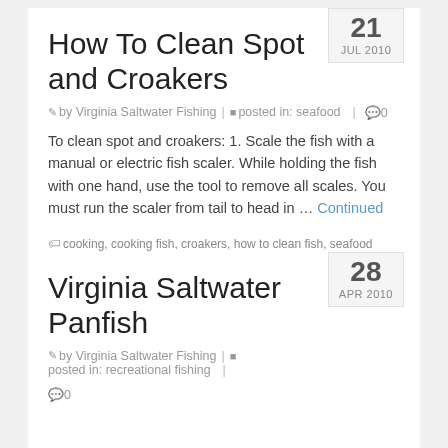How To Clean Spot and Croakers
by Virginia Saltwater Fishing | posted in: seafood | 0
To clean spot and croakers: 1. Scale the fish with a manual or electric fish scaler. While holding the fish with one hand, use the tool to remove all scales. You must run the scaler from tail to head in … Continued
cooking, cooking fish, croakers, how to clean fish, seafood recipes, spot
Virginia Saltwater Panfish
by Virginia Saltwater Fishing | posted in: recreational fishing | 0